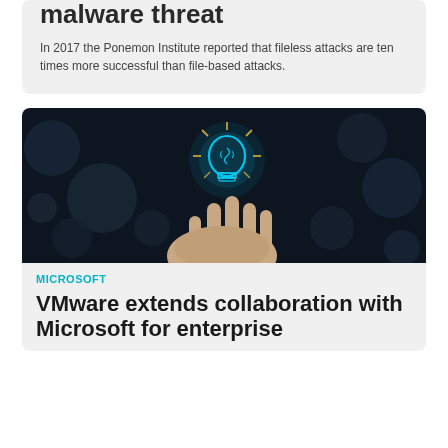malware threat
In 2017 the Ponemon Institute reported that fileless attacks are ten times more successful than file-based attacks.
[Figure (photo): A hand holding a glowing blue neon light bulb with brain design against a dark bokeh background]
MICROSOFT
VMware extends collaboration with Microsoft for enterprise